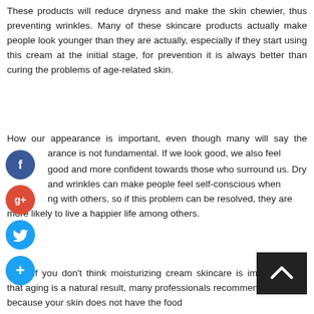These products will reduce dryness and make the skin chewier, thus preventing wrinkles. Many of these skincare products actually make people look younger than they are actually, especially if they start using this cream at the initial stage, for prevention it is always better than curing the problems of age-related skin.
How our appearance is important, even though many will say the appearance is not fundamental. If we look good, we also feel good and more confident towards those who surround us. Dry and wrinkles can make people feel self-conscious when interacting with others, so if this problem can be resolved, they are more likely to live a happier life among others.
Even if you don't think moisturizing cream skincare is important and that aging is a natural result, many professionals recommend them, just because your skin does not have the food
[Figure (infographic): Social media share buttons: Facebook (blue circle with f), Google+ (red circle with g+), Twitter (blue circle with bird icon), and a blue plus button]